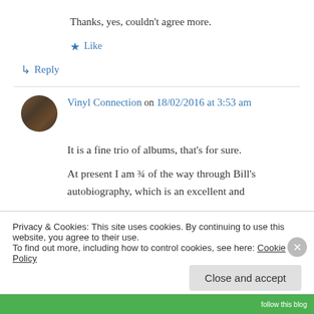Thanks, yes, couldn't agree more.
★ Like
↳ Reply
Vinyl Connection on 18/02/2016 at 3:53 am
It is a fine trio of albums, that's for sure.
At present I am ¾ of the way through Bill's autobiography, which is an excellent and
Privacy & Cookies: This site uses cookies. By continuing to use this website, you agree to their use.
To find out more, including how to control cookies, see here: Cookie Policy
Close and accept